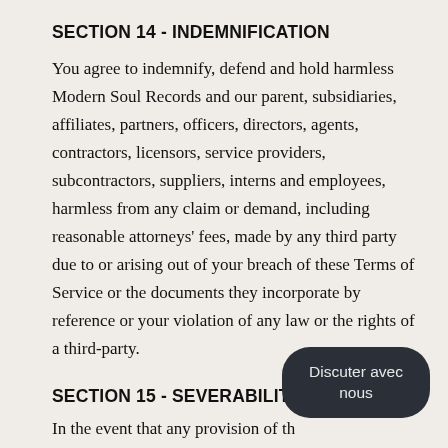SECTION 14 - INDEMNIFICATION
You agree to indemnify, defend and hold harmless Modern Soul Records and our parent, subsidiaries, affiliates, partners, officers, directors, agents, contractors, licensors, service providers, subcontractors, suppliers, interns and employees, harmless from any claim or demand, including reasonable attorneys' fees, made by any third party due to or arising out of your breach of these Terms of Service or the documents they incorporate by reference or your violation of any law or the rights of a third-party.
SECTION 15 - SEVERABILITY
In the event that any provision of these Terms of Service is determined to be unlawful, void or
[Figure (other): Chat button overlay with text 'Discuter avec nous' on dark rounded rectangle]